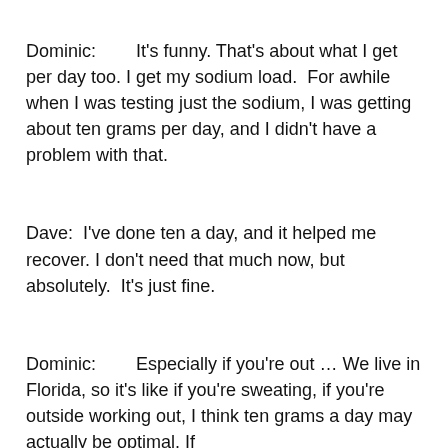Dominic:        It's funny. That's about what I get per day too. I get my sodium load.  For awhile when I was testing just the sodium, I was getting about ten grams per day, and I didn't have a problem with that.
Dave:  I've done ten a day, and it helped me recover. I don't need that much now, but absolutely.  It's just fine.
Dominic:        Especially if you're out … We live in Florida, so it's like if you're sweating, if you're outside working out, I think ten grams a day may actually be optimal. If